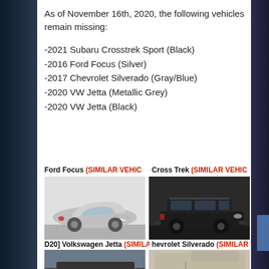As of November 16th, 2020, the following vehicles remain missing:
-2021 Subaru Crosstrek Sport (Black)
-2016 Ford Focus (Silver)
-2017 Chevrolet Silverado (Gray/Blue)
-2020 VW Jetta (Metallic Grey)
-2020 VW Jetta (Black)
Ford Focus (SIMILAR VEHICLE)
Cross Trek (SIMILAR VEHICLE)
[Figure (photo): Silver Ford Focus sedan, similar vehicle photo]
[Figure (photo): Black Subaru Crosstrek Sport SUV, similar vehicle photo]
2020 Volkswagen Jetta (SIMILAR VEHICLE)
Chevrolet Silverado (SIMILAR VEHICLE)
[Figure (photo): Volkswagen Jetta, similar vehicle photo, partial view]
[Figure (photo): Chevrolet Silverado truck, similar vehicle photo, partial view]